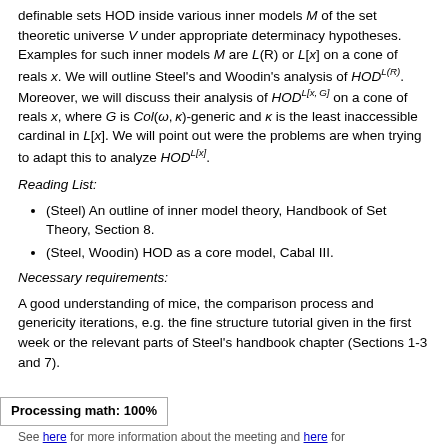definable sets HOD inside various inner models M of the set theoretic universe V under appropriate determinacy hypotheses. Examples for such inner models M are L(R) or L[x] on a cone of reals x. We will outline Steel's and Woodin's analysis of HOD^{L(R)}. Moreover, we will discuss their analysis of HOD^{L[x,G]} on a cone of reals x, where G is Col(ω, κ)-generic and κ is the least inaccessible cardinal in L[x]. We will point out were the problems are when trying to adapt this to analyze HOD^{L[x]}.
Reading List:
(Steel) An outline of inner model theory, Handbook of Set Theory, Section 8.
(Steel, Woodin) HOD as a core model, Cabal III.
Necessary requirements:
A good understanding of mice, the comparison process and genericity iterations, e.g. the fine structure tutorial given in the first week or the relevant parts of Steel's handbook chapter (Sections 1-3 and 7).
Processing math: 100%